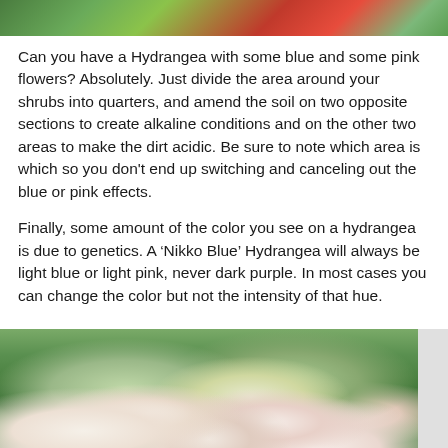[Figure (photo): Top portion of a photo showing hydrangea flowers with red/pink and green foliage]
Can you have a Hydrangea with some blue and some pink flowers? Absolutely. Just divide the area around your shrubs into quarters, and amend the soil on two opposite sections to create alkaline conditions and on the other two areas to make the dirt acidic. Be sure to note which area is which so you don't end up switching and canceling out the blue or pink effects.
Finally, some amount of the color you see on a hydrangea is due to genetics. A ‘Nikko Blue’ Hydrangea will always be light blue or light pink, never dark purple. In most cases you can change the color but not the intensity of that hue.
[Figure (photo): Photo of white and pink hydrangea blooms with green leaves and trees in the background]